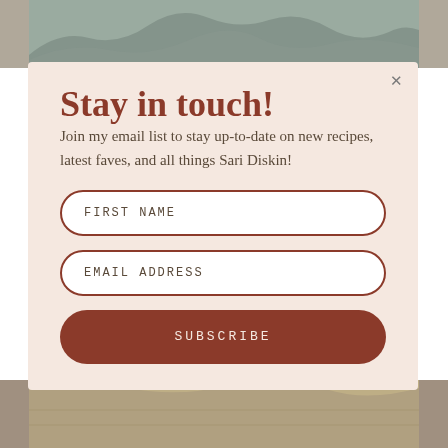[Figure (photo): Mountain landscape photo visible at top behind modal]
Stay in touch!
Join my email list to stay up-to-date on new recipes, latest faves, and all things Sari Diskin!
FIRST NAME
EMAIL ADDRESS
SUBSCRIBE
[Figure (photo): Aerial/landscape photo visible at bottom behind modal]